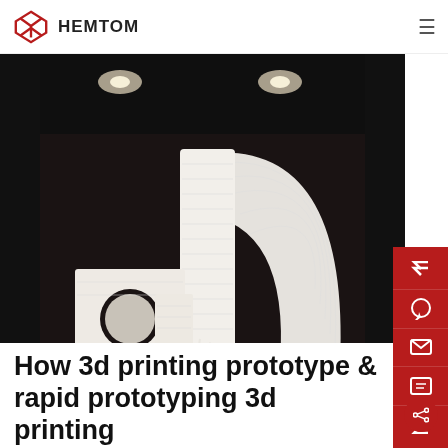HEMTOM
[Figure (photo): White 3D printed prototype objects arranged on a textured surface inside a dark-walled 3D printer chamber, with overhead lighting visible.]
How 3d printing prototype & rapid prototyping 3d printing